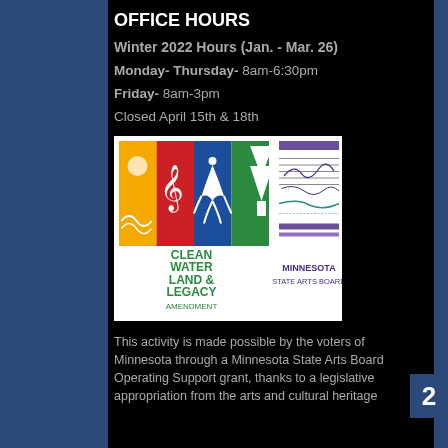OFFICE HOURS
Winter 2022 Hours (Jan. - Mar. 26)
Monday- Thursday- 8am-6:30pm
Friday- 8am-3pm
Closed April 15th & 18th
[Figure (logo): Clean Water Land & Legacy Amendment and Minnesota State Arts Board logos]
This activity is made possible by the voters of Minnesota through a Minnesota State Arts Board Operating Support grant, thanks to a legislative appropriation from the arts and cultural heritage